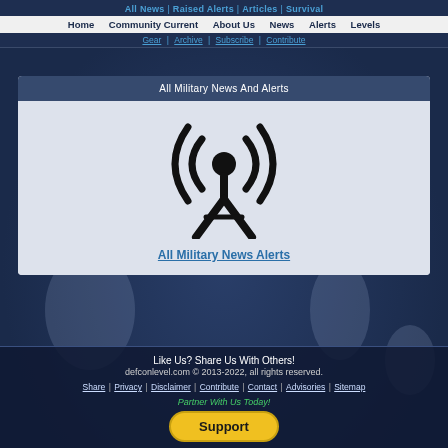All News | Raised Alerts | Articles | Survival Gear | Archive | Subscribe | Contribute
Home | Community Current | About Us | News | Alerts | Levels
All Military News And Alerts
[Figure (illustration): Radio tower / broadcast antenna icon with signal waves]
All Military News Alerts
Like Us? Share Us With Others!
defconlevel.com © 2013-2022, all rights reserved.
Share | Privacy | Disclaimer | Contribute | Contact | Advisories | Sitemap
Partner With Us Today!
Support